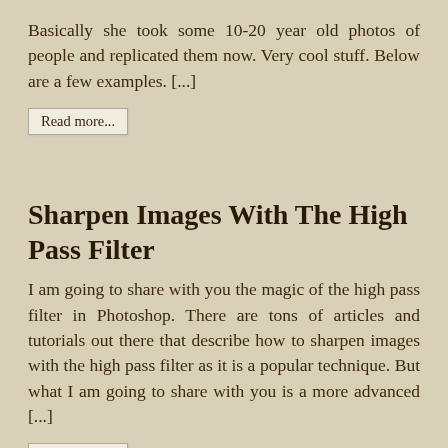Basically she took some 10-20 year old photos of people and replicated them now.  Very cool stuff.  Below are a few examples.   [...]
Read more...
Sharpen Images With The High Pass Filter
I am going to share with you the magic of the high pass filter in Photoshop.  There are tons of articles and tutorials out there that describe how to sharpen images with the high pass filter as it is a popular technique. But what I am going to share with you is a more advanced [...]
Read more...